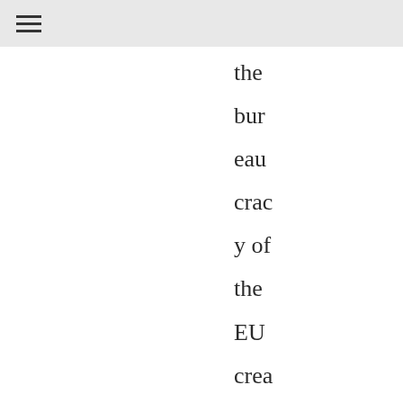☰
the bureaucracy of the EU creates so much red tape for companies